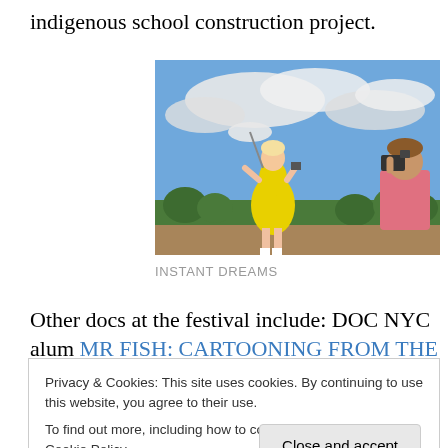indigenous school construction project.
[Figure (photo): A woman in a yellow dress holding a white umbrella being photographed by another person in pink against a blue sky with clouds and trees in the background.]
INSTANT DREAMS
Other docs at the festival include: DOC NYC alum MR FISH: CARTOONING FROM THE DEEP END, Pablo Bryant's portrait of a principled, controversial political
Privacy & Cookies: This site uses cookies. By continuing to use this website, you agree to their use.
To find out more, including how to control cookies, see here: Cookie Policy
eccentric old friends in Northern California.